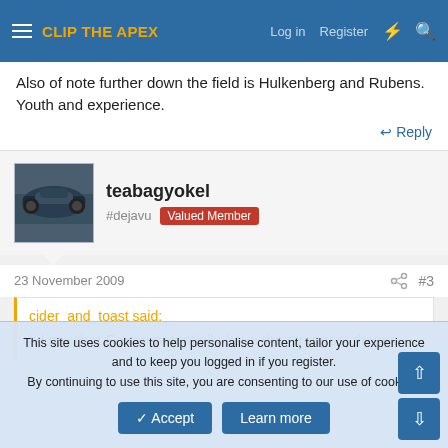CLIP THE APEX — Log in  Register
Also of note further down the field is Hulkenberg and Rubens. Youth and experience.
Reply
teabagyokel
#dejavu  Valued Member
23 November 2009  #3
cider_and_toast said:
I'd say that Ferrari potentially have the strongest drivers
This site uses cookies to help personalise content, tailor your experience and to keep you logged in if you register.
By continuing to use this site, you are consenting to our use of cookies.
Accept  Learn more